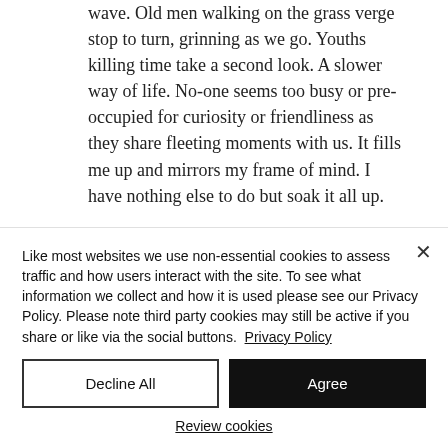wave. Old men walking on the grass verge stop to turn, grinning as we go. Youths killing time take a second look. A slower way of life. No-one seems too busy or pre-occupied for curiosity or friendliness as they share fleeting moments with us. It fills me up and mirrors my frame of mind. I have nothing else to do but soak it all up.

We stop to fill up at a garage run by a family
Like most websites we use non-essential cookies to assess traffic and how users interact with the site. To see what information we collect and how it is used please see our Privacy Policy. Please note third party cookies may still be active if you share or like via the social buttons. Privacy Policy
Decline All
Agree
Review cookies